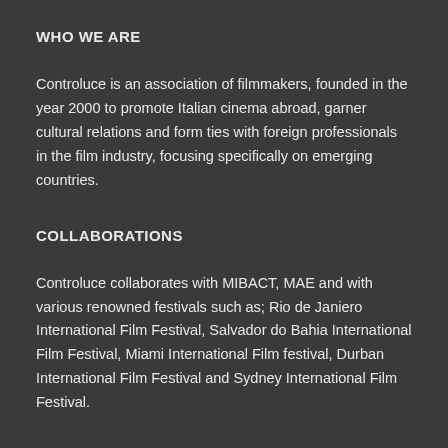WHO WE ARE
Controluce is an association of filmmakers, founded in the year 2000 to promote Italian cinema abroad, garner cultural relations and form ties with foreign professionals in the film industry, focusing specifically on emerging countries.
COLLABORATIONS
Controluce collaborates with MIBACT, MAE and with various renowned festivals such as; Rio de Janiero International Film Festival, Salvador do Bahia International Film Festival, Miami International Film festival, Durban International Film Festival and Sydney International Film Festival.